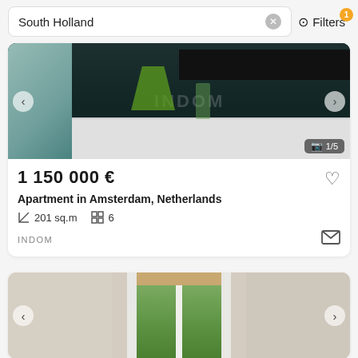South Holland   ⊙ Filters 1
[Figure (photo): Interior photo of a modern kitchen with dark cabinets, green accent, and INDOM branding. Navigation arrows on sides. Photo counter showing 1/5.]
1 150 000 €
Apartment in Amsterdam, Netherlands
201 sq.m   6
INDOM
[Figure (photo): Interior photo showing a white window with wooden frame/blind at top and green trees visible through glass. White walls on either side. Navigation arrows on sides.]